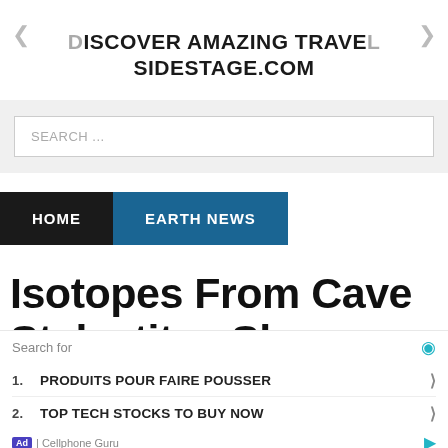DISCOVER AMAZING TRAVEL SIDESTAGE.COM
SEARCH ...
HOME   EARTH NEWS
Isotopes From Cave Stalactites Show More
Search for
1. PRODUITS POUR FAIRE POUSSER
2. TOP TECH STOCKS TO BUY NOW
| Cellphone Guru